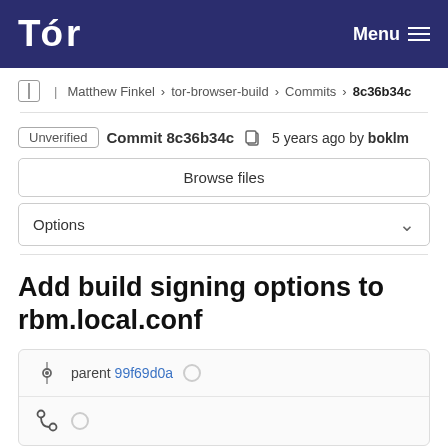Tor | Menu
Matthew Finkel > tor-browser-build > Commits > 8c36b34c
Unverified Commit 8c36b34c 5 years ago by boklm
Browse files
Options
Add build signing options to rbm.local.conf
parent 99f69d0a